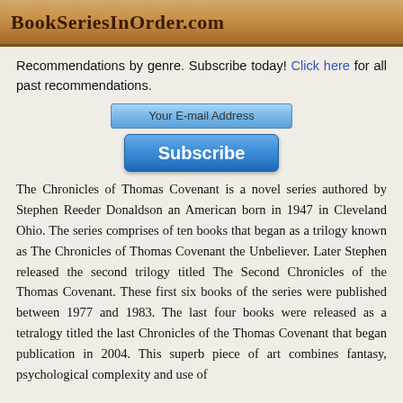BookSeriesInOrder.com
Recommendations by genre. Subscribe today! Click here for all past recommendations.
[Figure (other): Email subscription form with an email input field and a Subscribe button]
The Chronicles of Thomas Covenant is a novel series authored by Stephen Reeder Donaldson an American born in 1947 in Cleveland Ohio. The series comprises of ten books that began as a trilogy known as The Chronicles of Thomas Covenant the Unbeliever. Later Stephen released the second trilogy titled The Second Chronicles of the Thomas Covenant. These first six books of the series were published between 1977 and 1983. The last four books were released as a tetralogy titled the last Chronicles of the Thomas Covenant that began publication in 2004. This superb piece of art combines fantasy, psychological complexity and use of